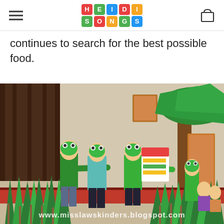HEIDI SONGS
continues to search for the best possible food.
[Figure (photo): Children wearing frog masks and green shirts performing a school play on a stage decorated with paper grass and a tree. Watermark reads www.misslawskinders.blogspot.com]